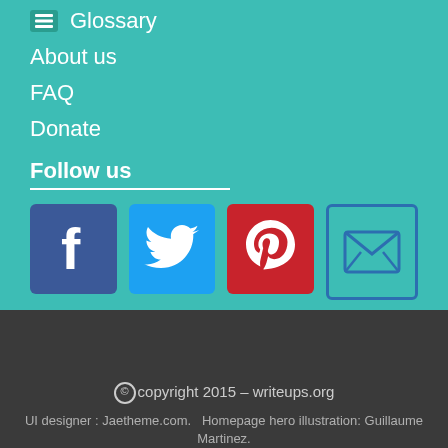Glossary
About us
FAQ
Donate
Follow us
[Figure (logo): Social media icons: Facebook (blue), Twitter (blue), Pinterest (red), Email (white/outlined)]
© copyright 2015 – writeups.org
UI designer : Jaetheme.com.   Homepage hero illustration: Guillaume Martinez.